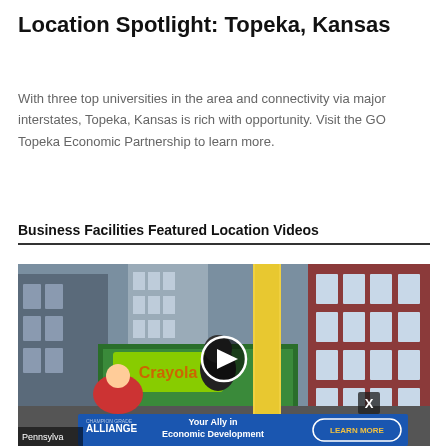Location Spotlight: Topeka, Kansas
With three top universities in the area and connectivity via major interstates, Topeka, Kansas is rich with opportunity. Visit the GO Topeka Economic Partnership to learn more.
Business Facilities Featured Location Videos
[Figure (photo): Street scene video thumbnail showing a city street with buildings, a person in a costume, and a large yellow pencil sculpture. A play button overlay is shown in the center. An advertisement overlay at the bottom reads 'ALLIANCE - Your Ally in Economic Development - LEARN MORE'. A label at bottom left reads 'Pennsylva...']